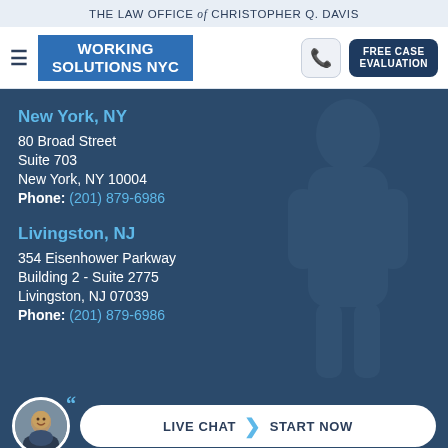THE LAW OFFICE of CHRISTOPHER Q. DAVIS
[Figure (logo): Working Solutions NYC logo — white bold text on blue background]
New York, NY
80 Broad Street
Suite 703
New York, NY 10004
Phone: (201) 879-6986
Livingston, NJ
354 Eisenhower Parkway
Building 2 - Suite 2775
Livingston, NJ 07039
Phone: (201) 879-6986
LIVE CHAT  START NOW